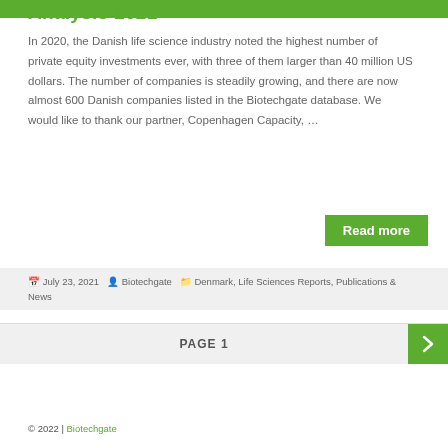Analysis 2021
In 2020, the Danish life science industry noted the highest number of private equity investments ever, with three of them larger than 40 million US dollars. The number of companies is steadily growing, and there are now almost 600 Danish companies listed in the Biotechgate database. We would like to thank our partner, Copenhagen Capacity, …
Read more
July 23, 2021   Biotechgate   Denmark, Life Sciences Reports, Publications & News
PAGE 1
© 2022 | Biotechgate